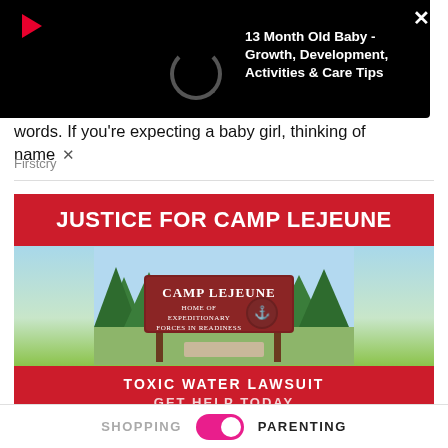[Figure (screenshot): Video notification overlay on black background showing play button, loading spinner, and article title '13 Month Old Baby - Growth, Development, Activities & Care Tips' with a close X button]
words. If you're expecting a baby girl, thinking of name
Firstcry
[Figure (infographic): Justice for Camp Lejeune advertisement. Red header banner with white bold text 'JUSTICE FOR CAMP LEJEUNE'. Below is an illustrated image of a Camp Lejeune military base entrance sign reading 'CAMP LEJEUNE HOME OF EXPEDITIONARY FORCES IN READINESS' with trees in the background. Red footer with white uppercase text 'TOXIC WATER LAWSUIT' and 'GET HELP TODAY']
SHOPPING    PARENTING